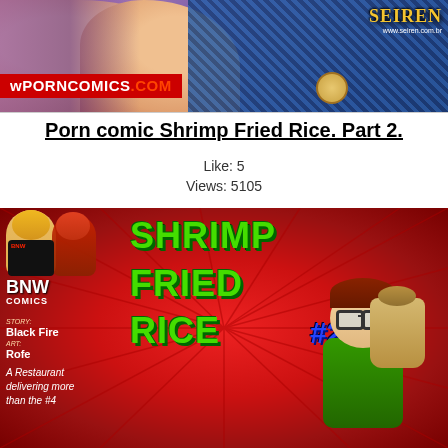[Figure (illustration): Top banner image: cartoon adult comic illustration with skin-toned figure on left and blue grid/teal outfit on right, with red banner reading 'wPORNOMICS.COM' and logo 'SEIREN' with URL 'www.seiren.com.br']
Porn comic Shrimp Fried Rice. Part 2.
Like: 5
Views: 5105
[Figure (illustration): Comic book cover for 'Shrimp Fried Rice #2' by BNW Comics. Red background with ray lines. Green stylized title text. Credits: Story: Black Fire, Art: Rofe. Tagline: 'A Restaurant delivering more than the #4'. Characters: two female figures top left, cartoon delivery boy with glasses and bag center-right.]